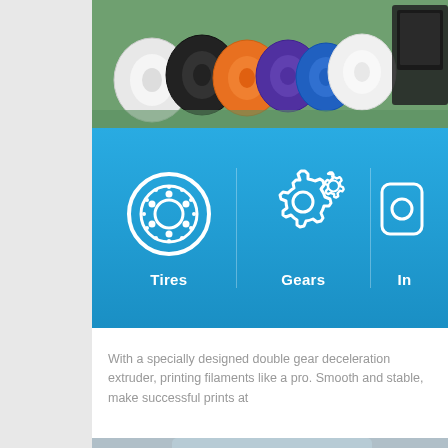[Figure (photo): Top banner photo showing colorful 3D printing filament spools in various colors (white, black, orange, purple, blue) with a 3D printer visible on the right side, on a green cutting mat.]
[Figure (infographic): Blue gradient banner with white icons and labels: a tire/wheel icon labeled 'Tires', two interlocking gears icon labeled 'Gears', and a partially visible third icon labeled 'In...' (cut off at right edge).]
With a specially designed double gear deceleration extruder, printing filaments like a pro. Smooth and stable, make successful prints at...
[Figure (photo): Bottom photo showing a person in a light blue shirt holding a 3D printed object (appears to be a honeycomb-structured spherical piece), partially visible at bottom of page.]